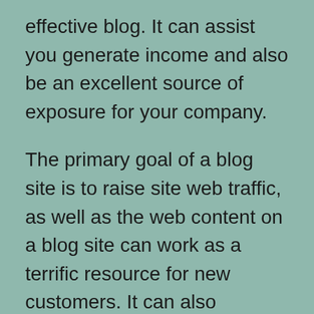effective blog. It can assist you generate income and also be an excellent source of exposure for your company.
The primary goal of a blog site is to raise site web traffic, as well as the web content on a blog site can work as a terrific resource for new customers. It can also establish trust fund with your target audience, as blog owners give interesting as well as fascinating content. Individuals are most likely to buy from a trustworthy resource than from an unknown one, so it is essential to create a blog site that will certainly make the trust fund of your target